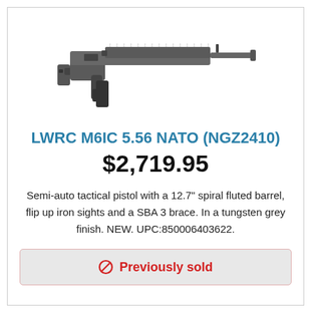[Figure (photo): LWRC M6IC tactical pistol in tungsten grey finish with spiral fluted barrel, flip up iron sights and SBA 3 brace]
LWRC M6IC 5.56 NATO (NGZ2410)
$2,719.95
Semi-auto tactical pistol with a 12.7" spiral fluted barrel, flip up iron sights and a SBA 3 brace. In a tungsten grey finish. NEW. UPC:850006403622.
🚫 Previously sold